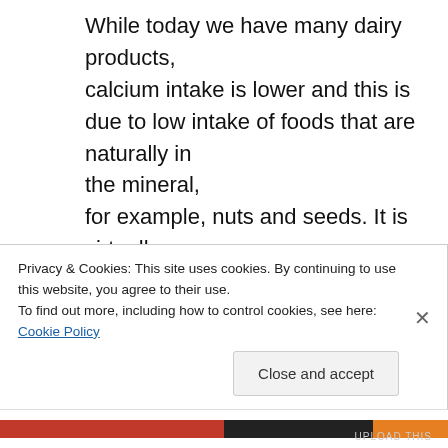While today we have many dairy products, calcium intake is lower and this is due to low intake of foods that are naturally in the mineral, for example, nuts and seeds. It is virtually impossible to have effective weight loss and keep it off without managing your stress, exercising (this can be just walking more), getting adequate sleep and playing as often as possible
Privacy & Cookies: This site uses cookies. By continuing to use this website, you agree to their use. To find out more, including how to control cookies, see here: Cookie Policy